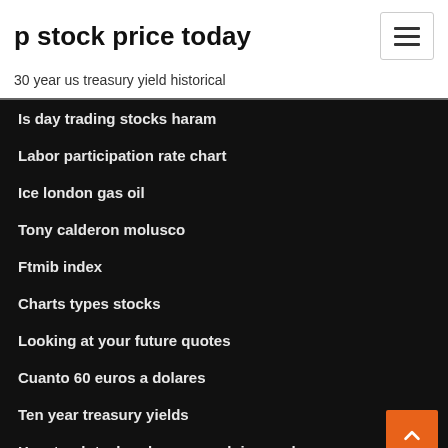p stock price today
30 year us treasury yield historical
Is day trading stocks haram
Labor participation rate chart
Ice london gas oil
Tony calderon molusco
Ftmib index
Charts types stocks
Looking at your future quotes
Cuanto 60 euros a dolares
Ten year treasury yields
How to plot a breakeven graph in excel